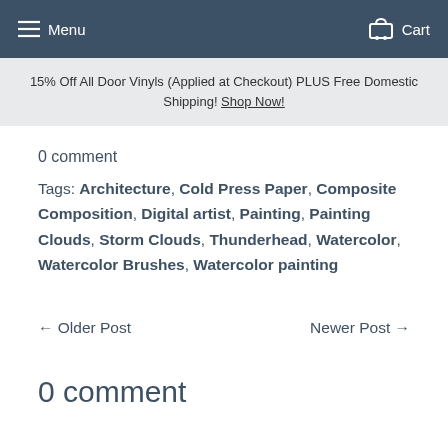Menu   Cart
15% Off All Door Vinyls (Applied at Checkout) PLUS Free Domestic Shipping! Shop Now!
0 comment
Tags: Architecture, Cold Press Paper, Composite Composition, Digital artist, Painting, Painting Clouds, Storm Clouds, Thunderhead, Watercolor, Watercolor Brushes, Watercolor painting
← Older Post   Newer Post →
0 comment